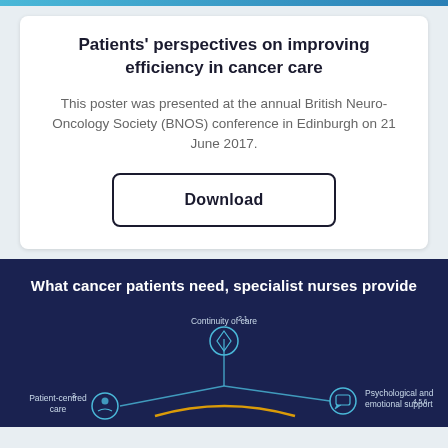Patients' perspectives on improving efficiency in cancer care
This poster was presented at the annual British Neuro-Oncology Society (BNOS) conference in Edinburgh on 21 June 2017.
Download
[Figure (infographic): Infographic titled 'What cancer patients need, specialist nurses provide' showing a network diagram on a dark navy background with nodes for: Continuity of care, Patient-centred care, and Psychological and emotional support, connected by lines with a central icon.]